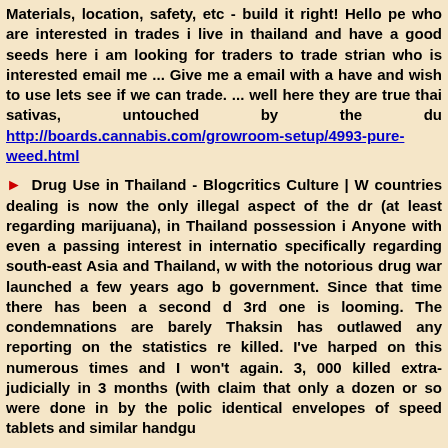Materials, location, safety, etc - build it right! Hello pe who are interested in trades i live in thailand and have a good seeds here i am looking for traders to trade strian who is interested email me ... Give me a email with a have and wish to use lets see if we can trade. ... well here they are true thai sativas, untouched by the du http://boards.cannabis.com/growroom-setup/4993-pure- weed.html
Drug Use in Thailand - Blogcritics Culture | W countries dealing is now the only illegal aspect of the dr (at least regarding marijuana), in Thailand possession i Anyone with even a passing interest in internatio specifically regarding south-east Asia and Thailand, w with the notorious drug war launched a few years ago b government. Since that time there has been a second d 3rd one is looming. The condemnations are barely Thaksin has outlawed any reporting on the statistics re killed. I've harped on this numerous times and I won't again. 3, 000 killed extra-judicially in 3 months (with claim that only a dozen or so were done in by the polic identical envelopes of speed tablets and similar handgu